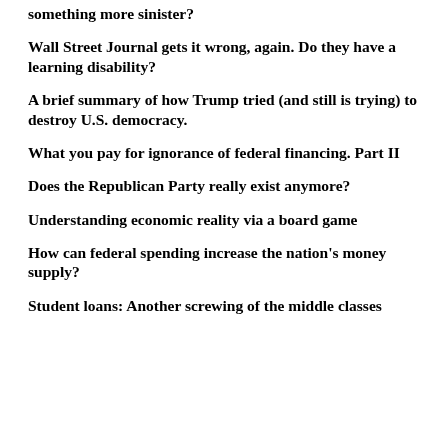something more sinister?
Wall Street Journal gets it wrong, again. Do they have a learning disability?
A brief summary of how Trump tried (and still is trying) to destroy U.S. democracy.
What you pay for ignorance of federal financing. Part II
Does the Republican Party really exist anymore?
Understanding economic reality via a board game
How can federal spending increase the nation's money supply?
Student loans: Another screwing of the middle classes